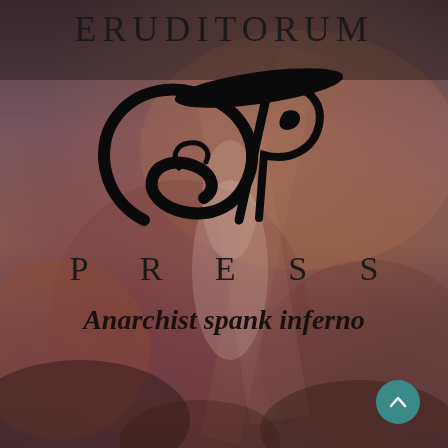[Figure (logo): Eruditorum Press logo with stylized EP monogram, the word ERUDITORUM at top, a decorative calligraphic EP emblem in the center, and PRESS lettered below in wide-spaced serif capitals. Background is a painterly scene with warm reddish-purple tones showing a figure. Text 'Anarchist spank inferno' appears in bold italic below the logo.]
Anarchist spank inferno